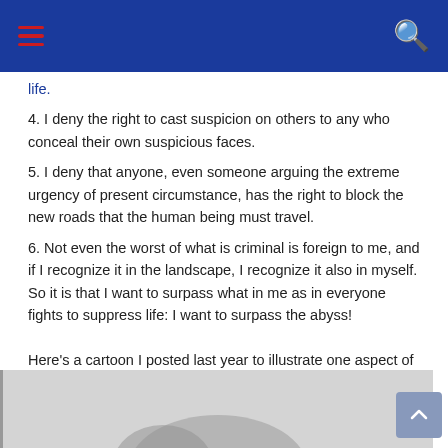☰  🔍
life.
4. I deny the right to cast suspicion on others to any who conceal their own suspicious faces.
5. I deny that anyone, even someone arguing the extreme urgency of present circumstance, has the right to block the new roads that the human being must travel.
6. Not even the worst of what is criminal is foreign to me, and if I recognize it in the landscape, I recognize it also in myself. So it is that I want to surpass what in me as in everyone fights to suppress life: I want to surpass the abyss!
Here's a cartoon I posted last year to illustrate one aspect of this principle.
[Figure (photo): Bottom portion of a photograph visible, showing a light grey background with a partial silhouette or figure at the bottom.]